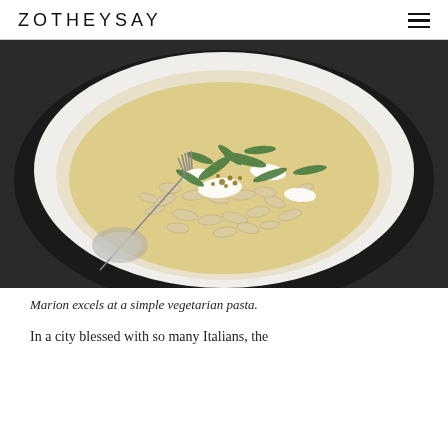ZOTHEYSAY
[Figure (photo): A white bowl of vegetarian pasta (cavatelli or similar) topped with fresh ricotta, arugula leaves, breadcrumbs, and yellow oil sauce, with a fork resting on the left side of the bowl, on a dark plate.]
Marion excels at a simple vegetarian pasta.
In a city blessed with so many Italians, the